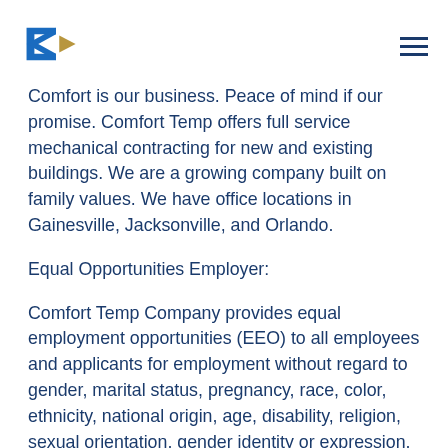Comfort Temp logo and navigation menu
Comfort is our business. Peace of mind if our promise. Comfort Temp offers full service mechanical contracting for new and existing buildings. We are a growing company built on family values. We have office locations in Gainesville, Jacksonville, and Orlando.
Equal Opportunities Employer:
Comfort Temp Company provides equal employment opportunities (EEO) to all employees and applicants for employment without regard to gender, marital status, pregnancy, race, color, ethnicity, national origin, age, disability, religion, sexual orientation, gender identity or expression,